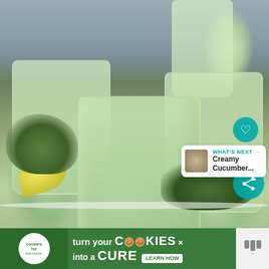[Figure (photo): Three glasses filled with a creamy green smoothie (cucumber/herb based), with lemon wedges and fresh dill/herbs in the foreground and background. Blue-gray background. UI overlays show a heart button, share count 1.1K, and a share button. A 'What's Next: Creamy Cucumber...' recommendation overlay appears in the bottom-right.]
[Figure (infographic): Green advertisement banner for 'cookies for kids cancer': 'turn your COOKIES into a CURE LEARN HOW' with the cookies for kids cancer circular logo on the left and a brand logo on the right. An X close button is visible.]